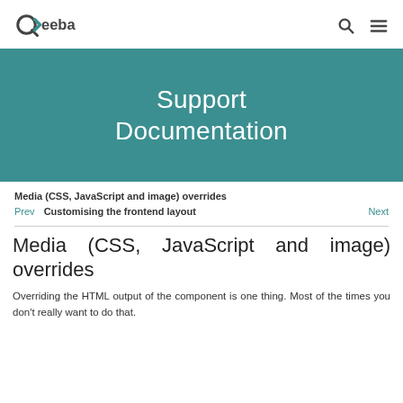Akeeba logo with navigation search and menu icons
[Figure (other): Akeeba Support Documentation hero banner with teal background]
Support Documentation
Media (CSS, JavaScript and image) overrides
Prev   Customising the frontend layout   Next
Media (CSS, JavaScript and image) overrides
Overriding the HTML output of the component is one thing. Most of the times you don't really want to do that.